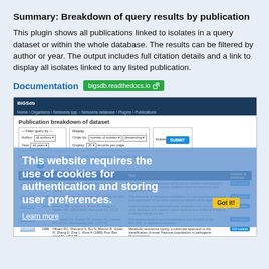Summary: Breakdown of query results by publication
This plugin shows all publications linked to isolates in a query dataset or within the whole database. The results can be filtered by author or year. The output includes full citation details and a link to display all isolates linked to any listed publication.
Documentation  bigsdb.readthedocs.io
[Figure (screenshot): Screenshot of BIGSdb web interface showing Publication breakdown of dataset page with filter controls and a results table, overlaid with a cookie consent banner reading 'This website requires the use of cookies for authentication and storing user preferences. Learn more' with a 'Got it!' button.]